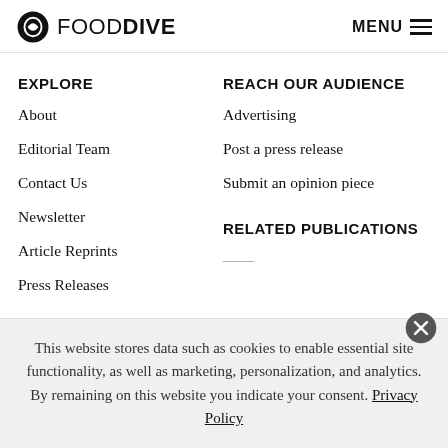FOOD DIVE | MENU
EXPLORE
About
Editorial Team
Contact Us
Newsletter
Article Reprints
Press Releases
REACH OUR AUDIENCE
Advertising
Post a press release
Submit an opinion piece
RELATED PUBLICATIONS
This website stores data such as cookies to enable essential site functionality, as well as marketing, personalization, and analytics. By remaining on this website you indicate your consent. Privacy Policy